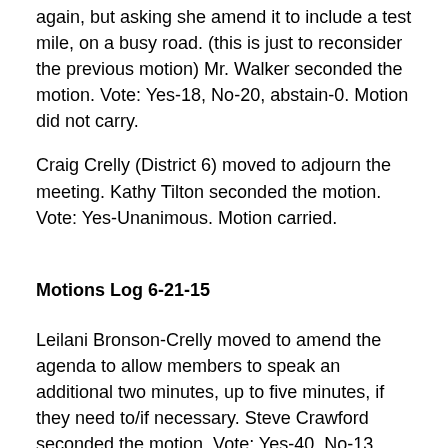again, but asking she amend it to include a test mile, on a busy road. (this is just to reconsider the previous motion) Mr. Walker seconded the motion. Vote: Yes-18, No-20, abstain-0. Motion did not carry.
Craig Crelly (District 6) moved to adjourn the meeting. Kathy Tilton seconded the motion. Vote: Yes-Unanimous. Motion carried.
Motions Log 6-21-15
Leilani Bronson-Crelly moved to amend the agenda to allow members to speak an additional two minutes, up to five minutes, if they need to/if necessary. Steve Crawford seconded the motion. Vote: Yes-40, No-13, Abstain-0. Motion carried.